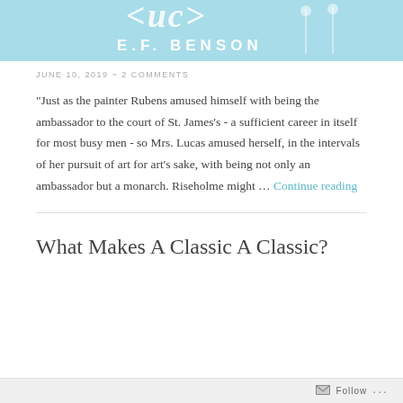[Figure (illustration): Light blue banner with white stylized text reading 'such' (partial, cropped) and 'E.F. BENSON' with decorative figures on the right side]
JUNE 10, 2019  ~  2 COMMENTS
"Just as the painter Rubens amused himself with being the ambassador to the court of St. James's - a sufficient career in itself for most busy men - so Mrs. Lucas amused herself, in the intervals of her pursuit of art for art's sake, with being not only an ambassador but a monarch. Riseholme might … Continue reading
What Makes A Classic A Classic?
Follow